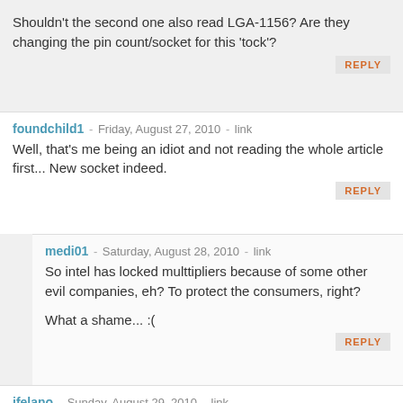Shouldn't the second one also read LGA-1156? Are they changing the pin count/socket for this 'tock'?
REPLY
foundchild1 - Friday, August 27, 2010 - link
Well, that's me being an idiot and not reading the whole article first... New socket indeed.
REPLY
medi01 - Saturday, August 28, 2010 - link
So intel has locked multtipliers because of some other evil companies, eh? To protect the consumers, right?

What a shame... :(
REPLY
jfelano - Sunday, August 29, 2010 - link
Did you even read the article???? Yes its s1155.
REPLY
wazzap123 - Thursday, November 18, 2010 - link
The story of how caches are going to work in the 8+ core world